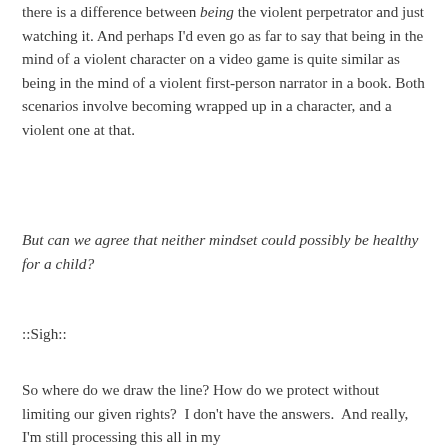there is a difference between being the violent perpetrator and just watching it. And perhaps I'd even go as far to say that being in the mind of a violent character on a video game is quite similar as being in the mind of a violent first-person narrator in a book. Both scenarios involve becoming wrapped up in a character, and a violent one at that.
But can we agree that neither mindset could possibly be healthy for a child?
::Sigh::
So where do we draw the line? How do we protect without limiting our given rights?  I don't have the answers.  And really, I'm still processing this all in my